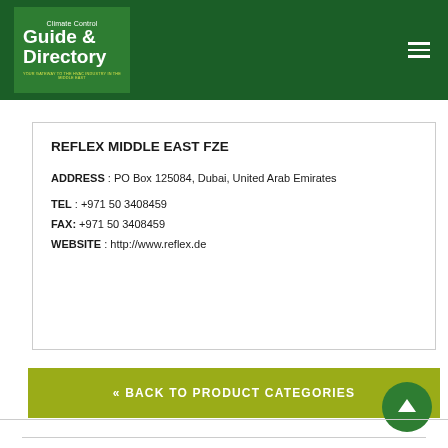Climate Control Guide & Directory
REFLEX MIDDLE EAST FZE
ADDRESS : PO Box 125084, Dubai, United Arab Emirates
TEL : +971 50 3408459
FAX: +971 50 3408459
WEBSITE : http://www.reflex.de
« BACK TO PRODUCT CATEGORIES